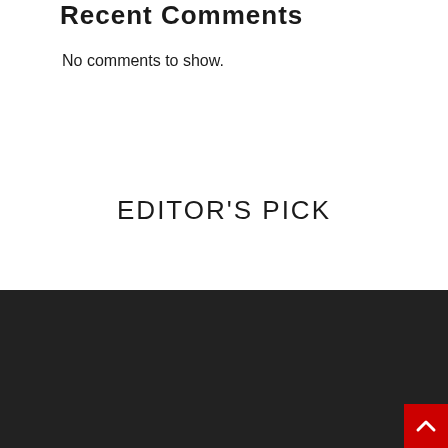Recent Comments
No comments to show.
EDITOR'S PICK
[Figure (other): Badge image showing Vincent KE, Don Valley North, with a photo of the person]
Office:
466 McNicoll Avenue